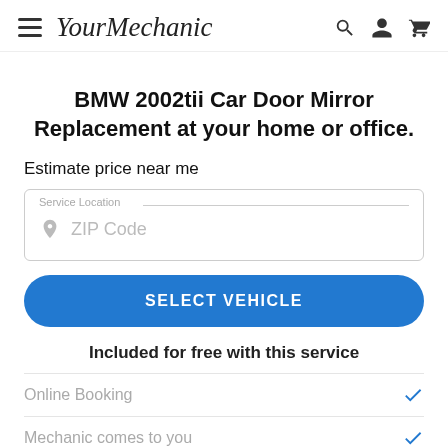YourMechanic — navigation header with hamburger menu, search, account, and cart icons
BMW 2002tii Car Door Mirror Replacement at your home or office.
Estimate price near me
Service Location — ZIP Code
SELECT VEHICLE
Included for free with this service
Online Booking ✓
Mechanic comes to you ✓